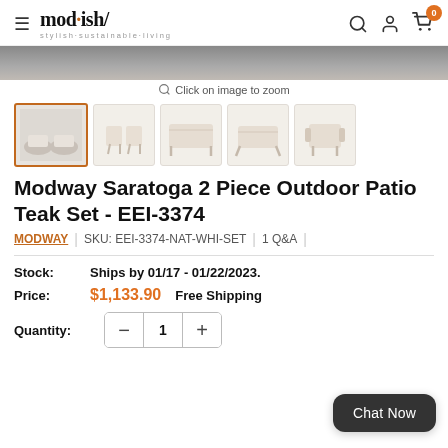mod·ish/ stylish·sustainable·living
[Figure (photo): Banner photo of outdoor patio furniture, partially cropped]
Click on image to zoom
[Figure (photo): Thumbnail row: 5 product thumbnails of Modway Saratoga 2 Piece Outdoor Patio Teak Set; first thumbnail selected with orange border]
Modway Saratoga 2 Piece Outdoor Patio Teak Set - EEI-3374
MODWAY | SKU: EEI-3374-NAT-WHI-SET | 1 Q&A
Stock: Ships by 01/17 - 01/22/2023.
Price: $1,133.90   Free Shipping
Quantity: 1